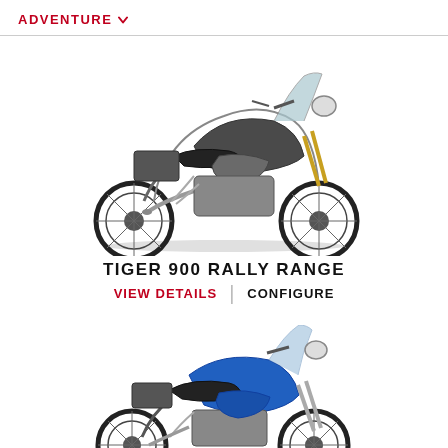ADVENTURE
[Figure (photo): Triumph Tiger 900 Rally Range motorcycle in grey/silver color, side profile view on white background]
TIGER 900 RALLY RANGE
VIEW DETAILS | CONFIGURE
[Figure (photo): Triumph Tiger 900 motorcycle in blue color, side profile view on white background, partially visible]